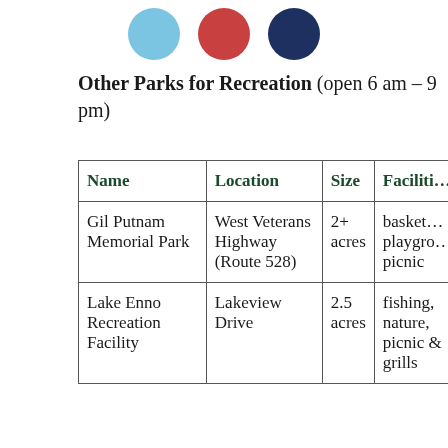[Figure (illustration): Three colored circles in a row: light blue, red, and dark navy blue]
Other Parks for Recreation (open 6 am – 9 pm)
| Name | Location | Size | Facilities |
| --- | --- | --- | --- |
| Gil Putnam Memorial Park | West Veterans Highway (Route 528) | 2+ acres | basketball, playground, picnic |
| Lake Enno Recreation Facility | Lakeview Drive | 2.5 acres | fishing, nature, picnic & grills |